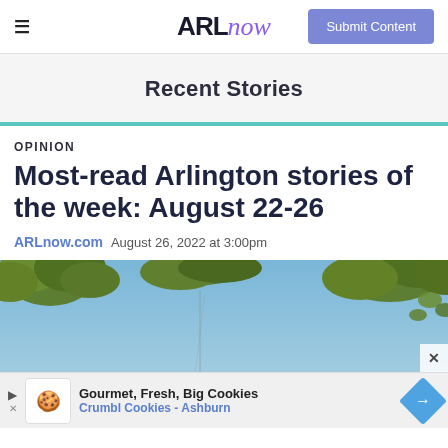ARLnow — Submit Content
Recent Stories
OPINION
Most-read Arlington stories of the week: August 22-26
ARLnow.com  August 26, 2022 at 3:00pm
[Figure (photo): Outdoor photo showing tree branches with green leaves against a blue sky]
Gourmet, Fresh, Big Cookies — Crumbl Cookies - Ashburn